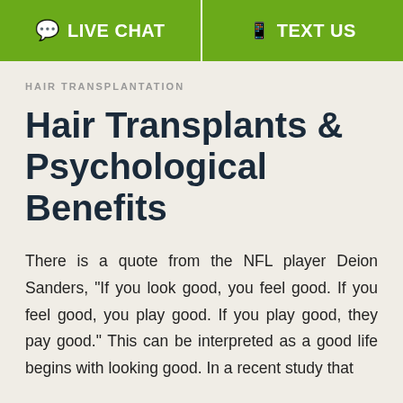LIVE CHAT  TEXT US
HAIR TRANSPLANTATION
Hair Transplants & Psychological Benefits
There is a quote from the NFL player Deion Sanders, “If you look good, you feel good. If you feel good, you play good. If you play good, they pay good.” This can be interpreted as a good life begins with looking good. In a recent study that